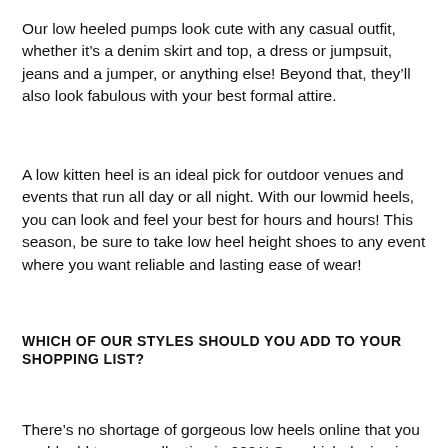Our low heeled pumps look cute with any casual outfit, whether it's a denim skirt and top, a dress or jumpsuit, jeans and a jumper, or anything else! Beyond that, they'll also look fabulous with your best formal attire.
A low kitten heel is an ideal pick for outdoor venues and events that run all day or all night. With our lowmid heels, you can look and feel your best for hours and hours! This season, be sure to take low heel height shoes to any event where you want reliable and lasting ease of wear!
WHICH OF OUR STYLES SHOULD YOU ADD TO YOUR SHOPPING LIST?
There's no shortage of gorgeous low heels online that you could add to your collection in 2021! So, which design is the right one for you? We'll go through a few of our favourites for you right now.